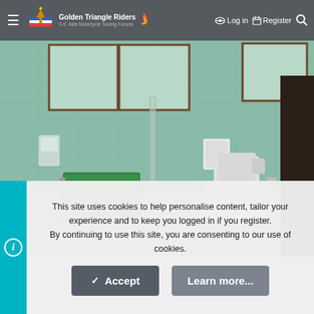Golden Triangle Riders — SE Asia Motorcycle Touring Forums | Log in | Register
[Figure (photo): Interior bathroom photo showing green-tiled walls, a white toilet, shower area with a green basin/chair, windows with wooden frames, and a tissue holder mounted on the tile wall.]
This site uses cookies to help personalise content, tailor your experience and to keep you logged in if you register. By continuing to use this site, you are consenting to our use of cookies.
Accept | Learn more...